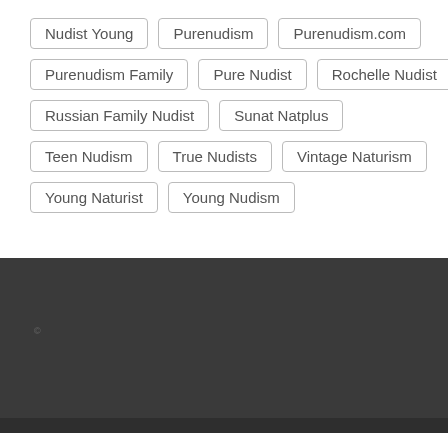Nudist Young
Purenudism
Purenudism.com
Purenudism Family
Pure Nudist
Rochelle Nudist
Russian Family Nudist
Sunat Natplus
Teen Nudism
True Nudists
Vintage Naturism
Young Naturist
Young Nudism